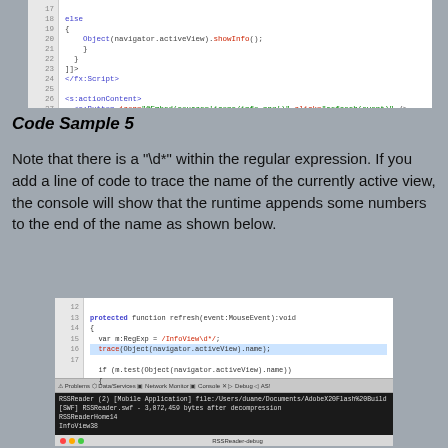[Figure (screenshot): Code editor screenshot showing lines 17-27 of ActionScript/MXML code with syntax highlighting. Lines show else block, Object(navigator.activeView).showInfo(), closing braces, and actionContent with s:Button element.]
Code Sample 5
Note that there is a "\d*" within the regular expression.  If you add a line of code to trace the name of the currently active view,  the console will show that the runtime appends some numbers to the end of the name as shown below.
[Figure (screenshot): Code editor showing lines 12-17 of ActionScript with a RegExp variable, trace statement, and if statement. Below the code is a console output showing RSSReaderHome14 and InfoView38, and an app window titled 'About RSS Reader' with an info button.]